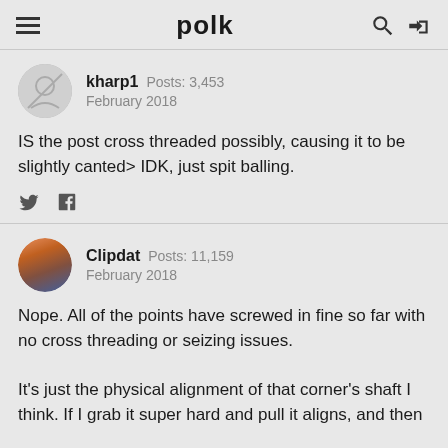polk
kharp1  Posts: 3,453
February 2018
IS the post cross threaded possibly, causing it to be slightly canted> IDK, just spit balling.
Clipdat  Posts: 11,159
February 2018
Nope. All of the points have screwed in fine so far with no cross threading or seizing issues.

It's just the physical alignment of that corner's shaft I think. If I grab it super hard and pull it aligns, and then